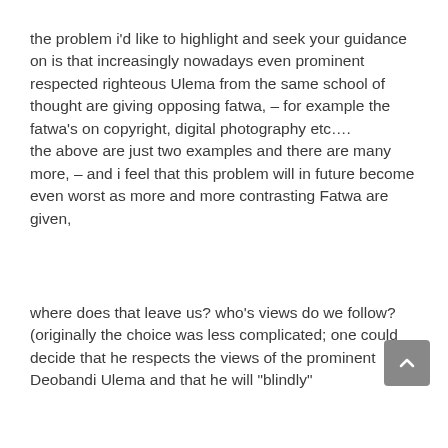the problem i'd like to highlight and seek your guidance on is that increasingly nowadays even prominent respected righteous Ulema from the same school of thought are giving opposing fatwa, – for example the fatwa's on copyright, digital photography etc….
the above are just two examples and there are many more, – and i feel that this problem will in future become even worst as more and more contrasting Fatwa are given,
where does that leave us? who's views do we follow? (originally the choice was less complicated; one could decide that he respects the views of the prominent Deobandi Ulema and that he will "blindly"